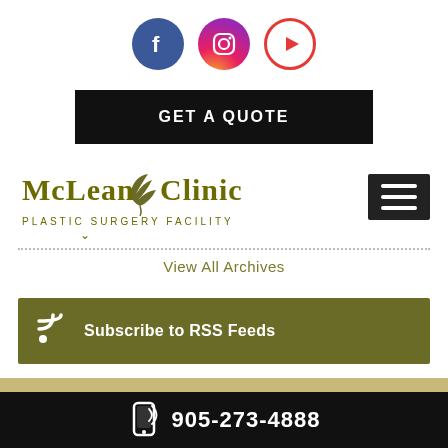[Figure (logo): Facebook, Instagram, YouTube social media icons]
GET A QUOTE
[Figure (logo): McLean Clinic - Plastic Surgery Facility logo with decorative bird/leaf icon]
[Figure (other): Hamburger menu button (three horizontal lines on dark background)]
View All Archives
Subscribe to RSS Feeds
905-273-4888